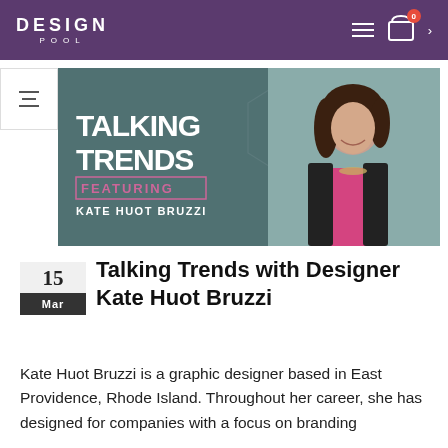DESIGN POOL
[Figure (photo): Talking Trends featuring Kate Huot Bruzzi - promotional image with designer photo on teal/green background]
Talking Trends with Designer Kate Huot Bruzzi
Kate Huot Bruzzi is a graphic designer based in East Providence, Rhode Island. Throughout her career, she has designed for companies with a focus on branding